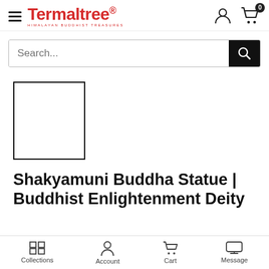[Figure (logo): Termaltree logo with hamburger menu icon on the left, user account icon and shopping cart icon with badge showing 0 on the right]
[Figure (screenshot): Search bar with placeholder text 'Search...' and a black search button with magnifying glass icon]
[Figure (other): Empty white image placeholder box with black border]
Shakyamuni Buddha Statue | Buddhist Enlightenment Deity
[Figure (screenshot): Bottom navigation bar with Collections, Account, Cart, and Message icons]